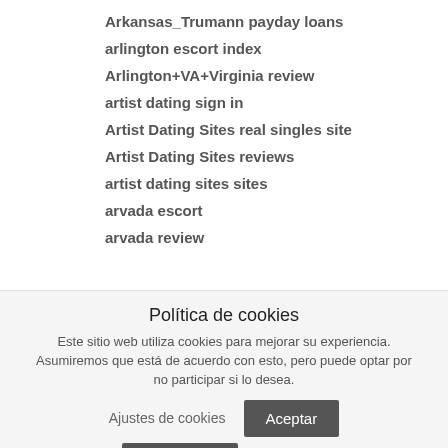Arkansas_Trumann payday loans
arlington escort index
Arlington+VA+Virginia review
artist dating sign in
Artist Dating Sites real singles site
Artist Dating Sites reviews
artist dating sites sites
arvada escort
arvada review
Política de cookies
Este sitio web utiliza cookies para mejorar su experiencia. Asumiremos que está de acuerdo con esto, pero puede optar por no participar si lo desea.
Ajustes de cookies
Aceptar
Rechazar
Leer más